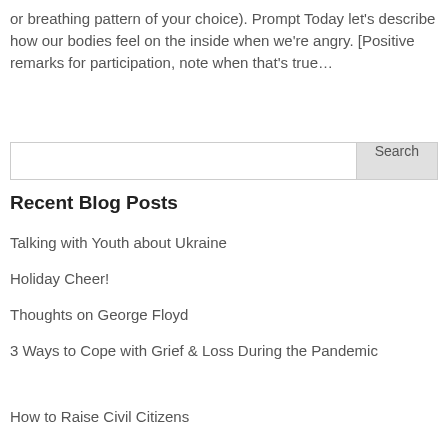or breathing pattern of your choice). Prompt Today let's describe how our bodies feel on the inside when we're angry. [Positive remarks for participation, note when that's true…
[Figure (other): Search input box with a Search button on the right]
Recent Blog Posts
Talking with Youth about Ukraine
Holiday Cheer!
Thoughts on George Floyd
3 Ways to Cope with Grief & Loss During the Pandemic
How to Raise Civil Citizens